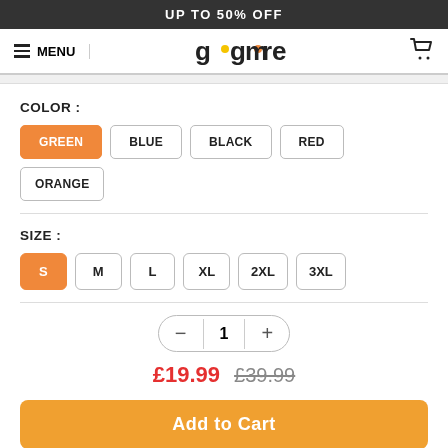UP TO 50% OFF
[Figure (logo): gogomore logo with stylized text]
COLOR :
GREEN (selected), BLUE, BLACK, RED, ORANGE
SIZE :
S (selected), M, L, XL, 2XL, 3XL
Quantity: 1
£19.99  £39.99
Add to Cart